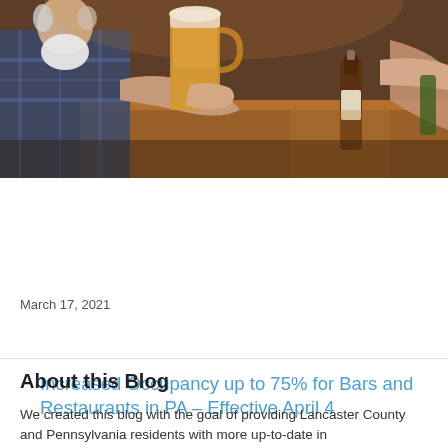[Figure (photo): People clinking beer glasses and bottles at a bar or restaurant table; one person is an older man with a white beard wearing a plaid shirt.]
Increased Occupancy up to 75% for Bars and Restaurants in PA – Effective April 4
March 17, 2021
About this Blog
We created this blog with the goal of providing Lancaster County and Pennsylvania residents with more up-to-date in